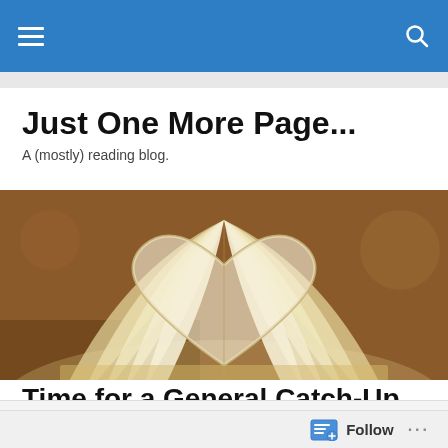Navigation bar with hamburger menu and search icon
Just One More Page...
A (mostly) reading blog.
[Figure (photo): A book with pages folded into the shape of a heart, photographed on a warm brown wooden surface.]
POSTED IN VERMONT
Time for a General Catch-Up...
Follow ...